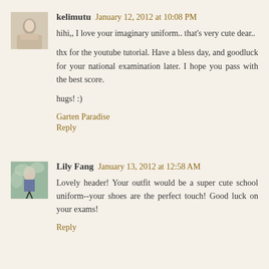kelimutu January 12, 2012 at 10:08 PM
hihi,, I love your imaginary uniform.. that's very cute dear..
thx for the youtube tutorial. Have a bless day, and goodluck for your national examination later. I hope you pass with the best score.
hugs! :)
Garten Paradise
Reply
Lily Fang January 13, 2012 at 12:58 AM
Lovely header! Your outfit would be a super cute school uniform--your shoes are the perfect touch! Good luck on your exams!
Reply